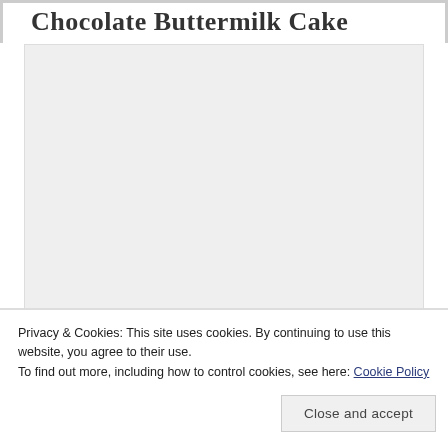Chocolate Buttermilk Cake
[Figure (photo): Large light gray placeholder image area for a Chocolate Buttermilk Cake photo]
Privacy & Cookies: This site uses cookies. By continuing to use this website, you agree to their use.
To find out more, including how to control cookies, see here: Cookie Policy
Close and accept